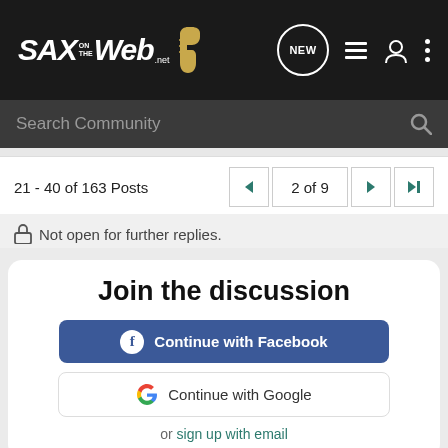SAXontheWeb.net
Search Community
21 - 40 of 163 Posts  2 of 9
Not open for further replies.
Join the discussion
Continue with Facebook
Continue with Google
or sign up with email